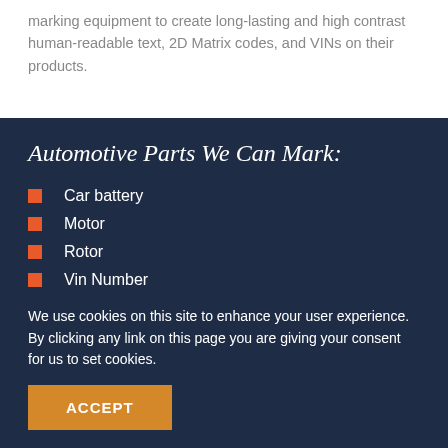marking equipment to create long-lasting and high contrast human-readable text, 2D Matrix codes, and VINs on their products.
Automotive Parts We Can Mark:
Car battery
Motor
Rotor
Vin Number
Drive Axle
We use cookies on this site to enhance your user experience. By clicking any link on this page you are giving your consent for us to set cookies.